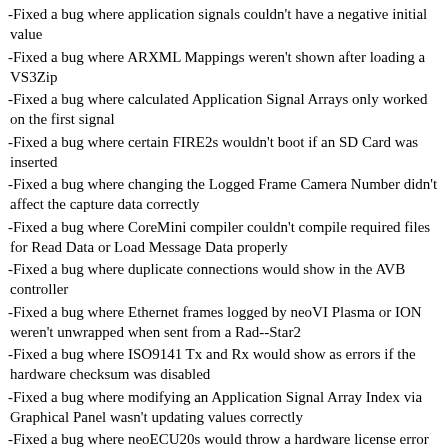-Fixed a bug where application signals couldn't have a negative initial value
-Fixed a bug where ARXML Mappings weren't shown after loading a VS3Zip
-Fixed a bug where calculated Application Signal Arrays only worked on the first signal
-Fixed a bug where certain FIRE2s wouldn't boot if an SD Card was inserted
-Fixed a bug where changing the Logged Frame Camera Number didn't affect the capture data correctly
-Fixed a bug where CoreMini compiler couldn't compile required files for Read Data or Load Message Data properly
-Fixed a bug where duplicate connections would show in the AVB controller
-Fixed a bug where Ethernet frames logged by neoVI Plasma or ION weren't unwrapped when sent from a Rad--Star2
-Fixed a bug where ISO9141 Tx and Rx would show as errors if the hardware checksum was disabled
-Fixed a bug where modifying an Application Signal Array Index via Graphical Panel wasn't updating values correctly
-Fixed a bug where neoECU20s would throw a hardware license error
-Fixed a bug where Network property CANFD Bit rate would read out an incorrect number
-Fixed a bug where Rad--Galaxy would lock up under extremely